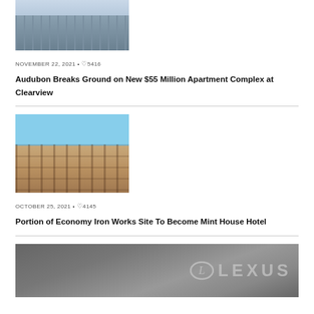[Figure (photo): Rendering of a modern apartment complex building with glass and metal facade]
NOVEMBER 22, 2021 • ♡5416
Audubon Breaks Ground on New $55 Million Apartment Complex at Clearview
[Figure (photo): Photo of a historic brick building, the Economy Iron Works site]
OCTOBER 25, 2021 • ♡4145
Portion of Economy Iron Works Site To Become Mint House Hotel
[Figure (photo): Photo of Lexus logo sign on a dark grey surface]